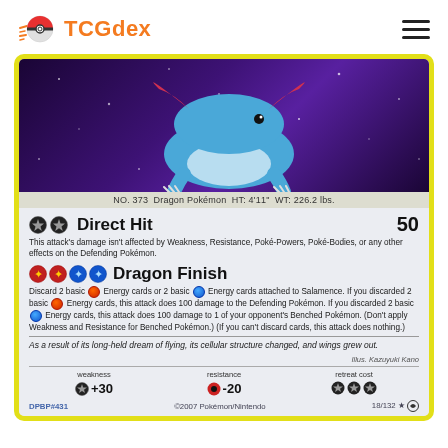TCGdex
[Figure (illustration): Salamence Pokemon card image - blue dragon Pokemon on purple galaxy background. Card shows NO. 373 Dragon Pokemon HT: 4'11" WT: 226.2 lbs.]
NO. 373  Dragon Pokémon  HT: 4'11"  WT: 226.2 lbs.
Direct Hit  50
This attack's damage isn't affected by Weakness, Resistance, Poké-Powers, Poké-Bodies, or any other effects on the Defending Pokémon.
Dragon Finish
Discard 2 basic Fire Energy cards or 2 basic Water Energy cards attached to Salamence. If you discarded 2 basic Fire Energy cards, this attack does 100 damage to the Defending Pokémon. If you discarded 2 basic Water Energy cards, this attack does 100 damage to 1 of your opponent's Benched Pokémon. (Don't apply Weakness and Resistance for Benched Pokémon.) (If you can't discard cards, this attack does nothing.)
As a result of its long-held dream of flying, its cellular structure changed, and wings grew out.
Illus. Kazuyuki Kano
| weakness | resistance | retreat cost |
| --- | --- | --- |
| ★ +30 | 🔴 -20 | ★ ★ ★ |
DPBP#431  ©2007 Pokémon/Nintendo  18/132 ★